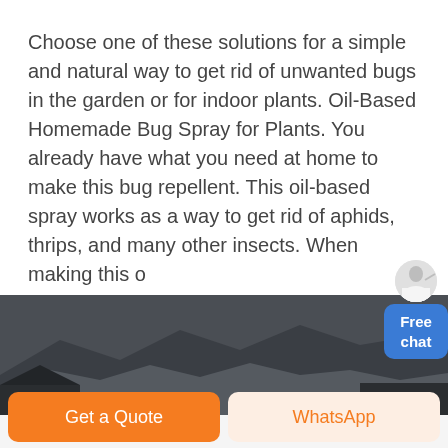Choose one of these solutions for a simple and natural way to get rid of unwanted bugs in the garden or for indoor plants. Oil-Based Homemade Bug Spray for Plants. You already have what you need at home to make this bug repellent. This oil-based spray works as a way to get rid of aphids, thrips, and many other insects. When making this o... ...
[Figure (photo): Dark outdoor landscape photo showing mountains or hills in the background with a gloomy, overcast sky. Foreground appears to show some structures or rooftops.]
Get a Quote
WhatsApp